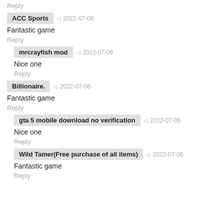Reply
ACC Sports · 2022-07-06
Fantastic game
Reply
mrcrayfish mod · 2022-07-06
Nice one
Reply
Billionaire. · 2022-07-06
Fantastic game
Reply
gta 5 mobile download no verification · 2022-07-06
Nice one
Reply
Wild Tamer(Free purchase of all items) · 2022-07-06
Fantastic game
Reply